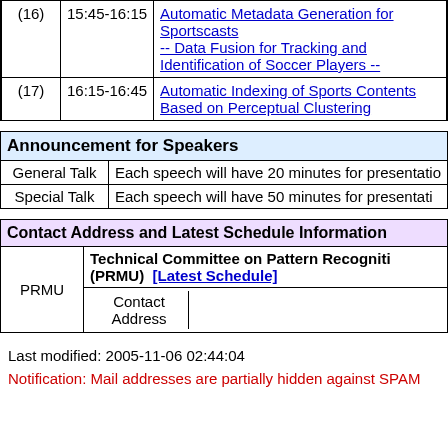| # | Time | Title |
| --- | --- | --- |
| (16) | 15:45-16:15 | Automatic Metadata Generation for Sportscasts -- Data Fusion for Tracking and Identification of Soccer Players -- |
| (17) | 16:15-16:45 | Automatic Indexing of Sports Contents Based on Perceptual Clustering |
| Announcement for Speakers |
| --- |
| General Talk | Each speech will have 20 minutes for presentation |
| Special Talk | Each speech will have 50 minutes for presentation |
| Contact Address and Latest Schedule Information |
| --- |
| PRMU | Technical Committee on Pattern Recognition (PRMU)  [Latest Schedule] |  |
| PRMU | Contact Address |  |
Last modified: 2005-11-06 02:44:04
Notification: Mail addresses are partially hidden against SPAM